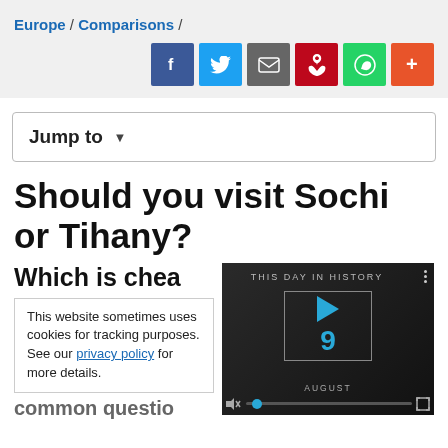Europe / Comparisons /
[Figure (infographic): Social media share icons: Facebook (blue), Twitter (light blue), Mail (gray), Pinterest (red), WhatsApp (green), More (orange-red)]
Jump to ▾
Should you visit Sochi or Tihany?
Which is chea...
This website sometimes uses cookies for tracking purposes. See our privacy policy for more details.
[Figure (screenshot): Video player showing 'THIS DAY IN HISTORY' with a play button, the number 9 in blue, and AUGUST label, with video controls at the bottom]
common question...